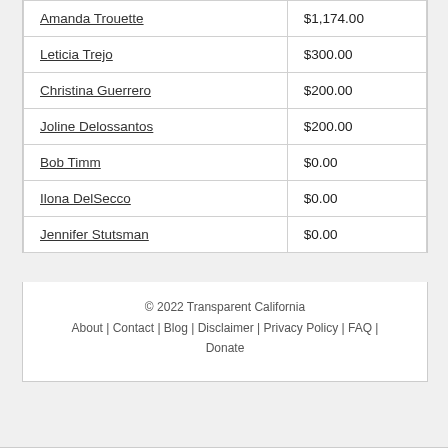| Name | Amount |
| --- | --- |
| Amanda Trouette | $1,174.00 |
| Leticia Trejo | $300.00 |
| Christina Guerrero | $200.00 |
| Joline Delossantos | $200.00 |
| Bob Timm | $0.00 |
| Ilona DelSecco | $0.00 |
| Jennifer Stutsman | $0.00 |
© 2022 Transparent California
About | Contact | Blog | Disclaimer | Privacy Policy | FAQ | Donate